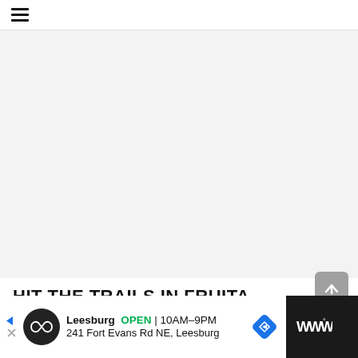☰ (hamburger menu icon)
[Figure (photo): Light gray placeholder image area, approximately 448x310px, no visible content]
HIT THE TRAILS IN FRUITA
[Figure (other): Gray rounded scroll-to-top button with white upward arrow icon]
[Figure (other): Advertisement bar at page bottom. Black background on sides. White center panel showing: Leesburg OPEN 10AM-9PM | 241 Fort Evans Rd NE, Leesburg. Black circle logo with infinity-style icon. Blue navigation arrow icon on right. Weather icon on far right.]